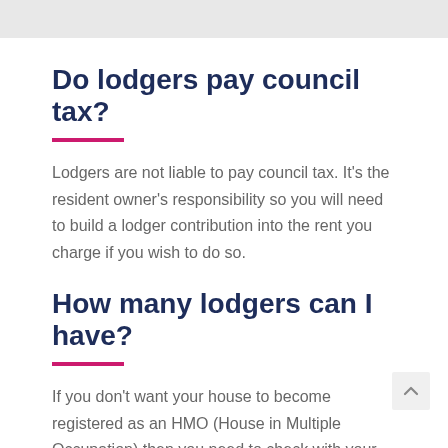Do lodgers pay council tax?
Lodgers are not liable to pay council tax. It’s the resident owner’s responsibility so you will need to build a lodger contribution into the rent you charge if you wish to do so.
How many lodgers can I have?
If you don’t want your house to become registered as an HMO (House in Multiple Occupation) then you need to check with your local council as to how many lodgers you can